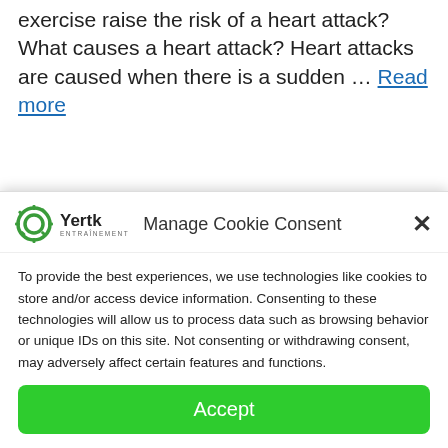exercise raise the risk of a heart attack? What causes a heart attack? Heart attacks are caused when there is a sudden … Read more
Weight Loss
causes of heart attack, heart attack,
Manage Cookie Consent
To provide the best experiences, we use technologies like cookies to store and/or access device information. Consenting to these technologies will allow us to process data such as browsing behavior or unique IDs on this site. Not consenting or withdrawing consent, may adversely affect certain features and functions.
Accept